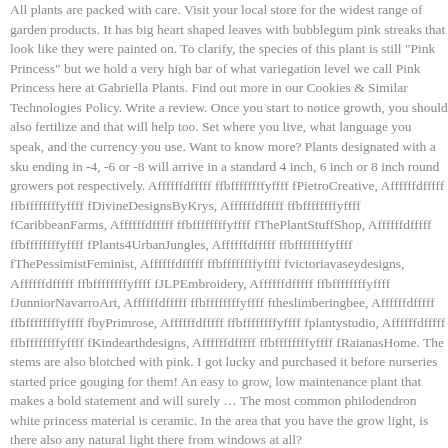All plants are packed with care. Visit your local store for the widest range of garden products. It has big heart shaped leaves with bubblegum pink streaks that look like they were painted on. To clarify, the species of this plant is still "Pink Princess" but we hold a very high bar of what variegation level we call Pink Princess here at Gabriella Plants. Find out more in our Cookies & Similar Technologies Policy. Write a review. Once you start to notice growth, you should also fertilize and that will help too. Set where you live, what language you speak, and the currency you use. Want to know more? Plants designated with a sku ending in -4, -6 or -8 will arrive in a standard 4 inch, 6 inch or 8 inch round growers pot respectively. Affffffdfffff ffbffffffffyffff fPietroCreative, Affffffdfffff ffbffffffffyffff fDivineDesignsByKrys, Affffffdfffff ffbffffffffyffff fCaribbeanFarms, Affffffdfffff ffbffffffffyffff fThePlantStuffShop, Affffffdfffff ffbffffffffyffff fPlants4UrbanJungles, Affffffdfffff ffbffffffffyffff fThePessimistFeminist, Affffffdfffff ffbffffffffyffff fvictoriavaseydesigns, Affffffdfffff ffbffffffffyffff fJLPEmbroidery, Affffffdfffff ffbffffffffyffff fJunniorNavarroArt, Affffffdfffff ffbffffffffyffff ftheslimberingbee, Affffffdfffff ffbffffffffyffff fbyPrimrose, Affffffdfffff ffbffffffffyffff fplantystudio, Affffffdfffff ffbffffffffyffff fKindearthdesigns, Affffffdfffff ffbffffffffyffff fRaianasHome. The stems are also blotched with pink. I got lucky and purchased it before nurseries started price gouging for them! An easy to grow, low maintenance plant that makes a bold statement and will surely … The most common philodendron white princess material is ceramic. In the area that you have the grow light, is there also any natural light there from windows at all?